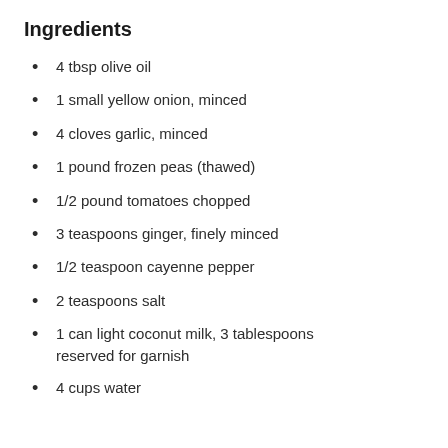Ingredients
4 tbsp olive oil
1 small yellow onion, minced
4 cloves garlic, minced
1 pound frozen peas (thawed)
1/2 pound tomatoes chopped
3 teaspoons ginger, finely minced
1/2 teaspoon cayenne pepper
2 teaspoons salt
1 can light coconut milk, 3 tablespoons reserved for garnish
4 cups water